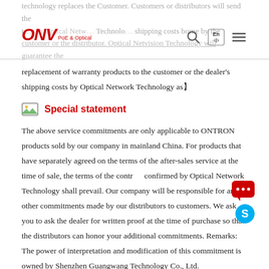technology replaces the Customer. Customers or distributors will send the t...s to Optical Netw... Technolo... shipping costs borne by the customer or the distributor. Optical Netvision Technology will guarantee the
replacement of warranty products to the customer or the dealer's shipping costs by Optical Network Technology as】
Special statement
The above service commitments are only applicable to ONTRON products sold by our company in mainland China. For products that have separately agreed on the terms of the after-sales service at the time of sale, the terms of the contract confirmed by Optical Network Technology shall prevail. Our company will be responsible for any other commitments made by our distributors to customers. We ask you to ask the dealer for written proof at the time of purchase so that the distributors can honor your additional commitments. Remarks: The power of interpretation and modification of this commitment is owned by Shenzhen Guangwang Technology Co., Ltd.